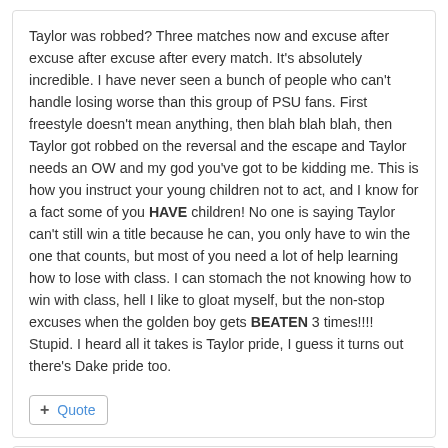Taylor was robbed? Three matches now and excuse after excuse after excuse after every match. It's absolutely incredible. I have never seen a bunch of people who can't handle losing worse than this group of PSU fans. First freestyle doesn't mean anything, then blah blah blah, then Taylor got robbed on the reversal and the escape and Taylor needs an OW and my god you've got to be kidding me. This is how you instruct your young children not to act, and I know for a fact some of you HAVE children! No one is saying Taylor can't still win a title because he can, you only have to win the one that counts, but most of you need a lot of help learning how to lose with class. I can stomach the not knowing how to win with class, hell I like to gloat myself, but the non-stop excuses when the golden boy gets BEATEN 3 times!!!! Stupid. I heard all it takes is Taylor pride, I guess it turns out there's Dake pride too.
+ Quote
skikayaker +93 Posted January 3, 2013
Hammerlock3 said: